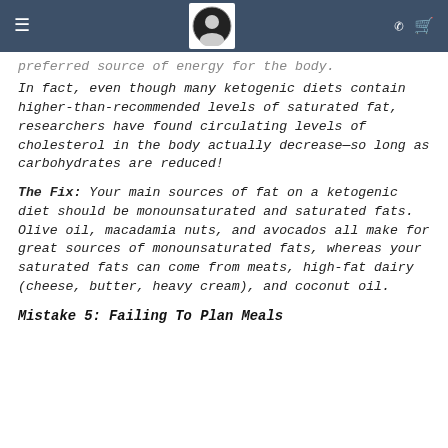[navigation header with logo]
preferred source of energy for the body.
In fact, even though many ketogenic diets contain higher-than-recommended levels of saturated fat, researchers have found circulating levels of cholesterol in the body actually decrease—so long as carbohydrates are reduced!
The Fix: Your main sources of fat on a ketogenic diet should be monounsaturated and saturated fats. Olive oil, macadamia nuts, and avocados all make for great sources of monounsaturated fats, whereas your saturated fats can come from meats, high-fat dairy (cheese, butter, heavy cream), and coconut oil.
Mistake 5: Failing To Plan Meals